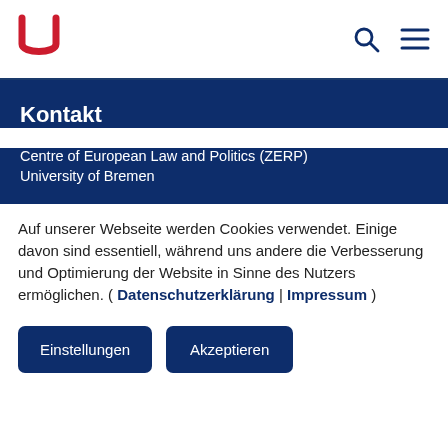University of Bremen – navigation header with logo, search icon, and menu icon
Kontakt
Centre of European Law and Politics (ZERP)
University of Bremen
Auf unserer Webseite werden Cookies verwendet. Einige davon sind essentiell, während uns andere die Verbesserung und Optimierung der Website in Sinne des Nutzers ermöglichen. ( Datenschutzerklärung | Impressum )
Einstellungen
Akzeptieren